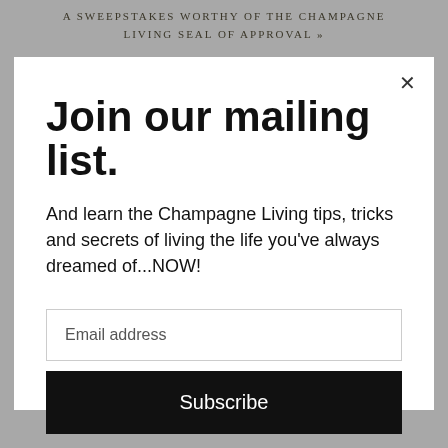A SWEEPSTAKES WORTHY OF THE CHAMPAGNE LIVING SEAL OF APPROVAL »
Join our mailing list.
And learn the Champagne Living tips, tricks and secrets of living the life you've always dreamed of...NOW!
Email address
Subscribe